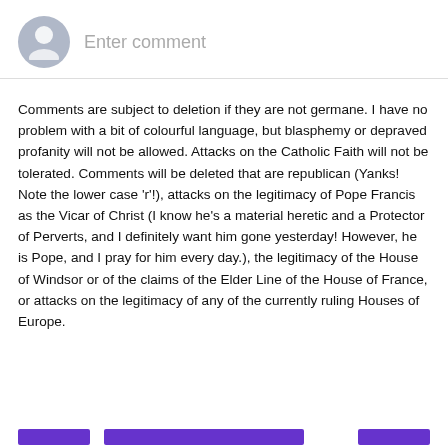[Figure (other): User avatar placeholder icon — grey circle with silhouette]
Enter comment
Comments are subject to deletion if they are not germane. I have no problem with a bit of colourful language, but blasphemy or depraved profanity will not be allowed. Attacks on the Catholic Faith will not be tolerated. Comments will be deleted that are republican (Yanks! Note the lower case 'r'!), attacks on the legitimacy of Pope Francis as the Vicar of Christ (I know he's a material heretic and a Protector of Perverts, and I definitely want him gone yesterday! However, he is Pope, and I pray for him every day.), the legitimacy of the House of Windsor or of the claims of the Elder Line of the House of France, or attacks on the legitimacy of any of the currently ruling Houses of Europe.